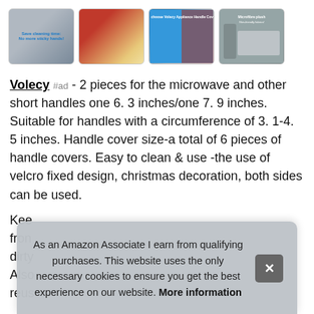[Figure (photo): Four product thumbnail images in a row: appliance handles, refrigerator with hand, product info graphic, and gray fabric material]
Volecy #ad - 2 pieces for the microwave and other short handles one 6. 3 inches/one 7. 9 inches. Suitable for handles with a circumference of 3. 1-4. 5 inches. Handle cover size-a total of 6 pieces of handle covers. Easy to clean & use -the use of velcro fixed design, christmas decoration, both sides can be used.
Kee... from... dirty... Also... reus...
As an Amazon Associate I earn from qualifying purchases. This website uses the only necessary cookies to ensure you get the best experience on our website. More information